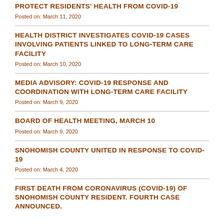PROTECT RESIDENTS' HEALTH FROM COVID-19
Posted on: March 11, 2020
HEALTH DISTRICT INVESTIGATES COVID-19 CASES INVOLVING PATIENTS LINKED TO LONG-TERM CARE FACILITY
Posted on: March 10, 2020
MEDIA ADVISORY: COVID-19 RESPONSE AND COORDINATION WITH LONG-TERM CARE FACILITY
Posted on: March 9, 2020
BOARD OF HEALTH MEETING, MARCH 10
Posted on: March 9, 2020
SNOHOMISH COUNTY UNITED IN RESPONSE TO COVID-19
Posted on: March 4, 2020
FIRST DEATH FROM CORONAVIRUS (COVID-19) OF SNOHOMISH COUNTY RESIDENT. FOURTH CASE ANNOUNCED.